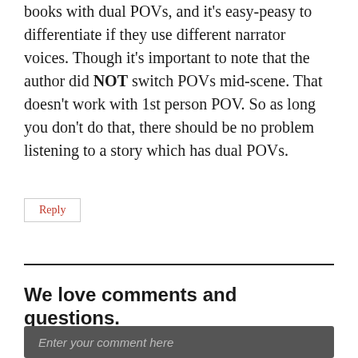books with dual POVs, and it's easy-peasy to differentiate if they use different narrator voices. Though it's important to note that the author did NOT switch POVs mid-scene. That doesn't work with 1st person POV. So as long you don't do that, there should be no problem listening to a story which has dual POVs.
Reply
We love comments and questions.
Enter your comment here